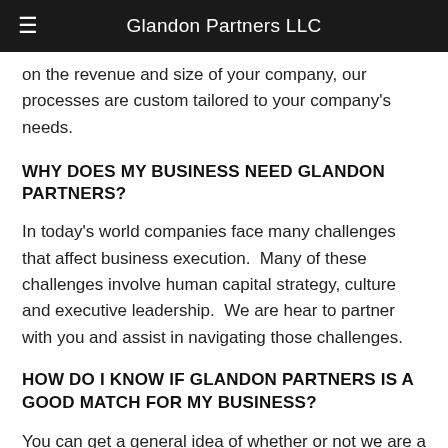Glandon Partners LLC
on the revenue and size of your company, our processes are custom tailored to your company's needs.
WHY DOES MY BUSINESS NEED GLANDON PARTNERS?
In today's world companies face many challenges that affect business execution.  Many of these challenges involve human capital strategy, culture and executive leadership.  We are hear to partner with you and assist in navigating those challenges.
HOW DO I KNOW IF GLANDON PARTNERS IS A GOOD MATCH FOR MY BUSINESS?
You can get a general idea of whether or not we are a good match by reviewing Glandon Partners here and get comfortable with the level of experience we have in many different industries all over the globe.  In addition, President and CEO Gary Glandon was be happy to have